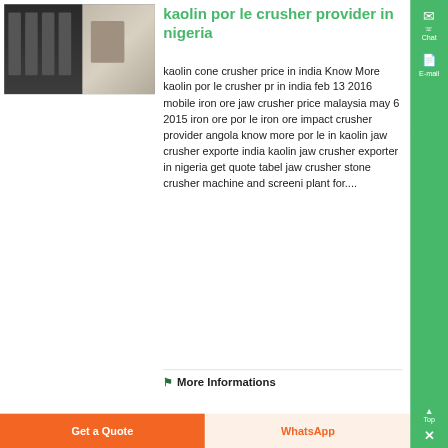[Figure (photo): Photo of an industrial electronic component or circuit board with dark and light sections]
kaolin por le crusher provider in nigeria
kaolin cone crusher price in india Know More kaolin por le crusher pr in india feb 13 2016 mobile iron ore jaw crusher price malaysia may 6 2015 iron ore por le iron ore impact crusher provider angola know more por le in kaolin jaw crusher exporte india kaolin jaw crusher exporter in nigeria get quote tabel jaw crusher stone crusher machine and screeni plant for....
More Informations
Get a Quote
WhatsApp